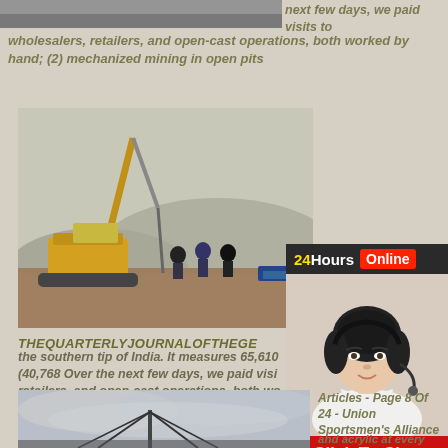[Figure (photo): Top partial photo strip of an outdoor scene]
next few days, we paid visits to wholesalers, retailers, and open-cast operations, both worked by hand; (2) mechanized mining in open pits
[Figure (photo): Mining site with excavator crane and workers in open pit landscape]
THEQUARTERLYJOURNALOFTHEGE
the southern tip of India. It measures 65,610 (40,768 Over the next few days, we paid visits to wholesalers, retailers, and open-cast operations, both worked by hand; (2) mechanized mining in open pits
[Figure (infographic): 24Hours Online chat widget with customer service representative photo and Click To Chat button]
[Figure (photo): Bottom photo of a bridge or structure against cloudy sky]
Articles - Page 8 Of 24 - Union Sportsmen's Alliance
and acrylic at every bird, duck or